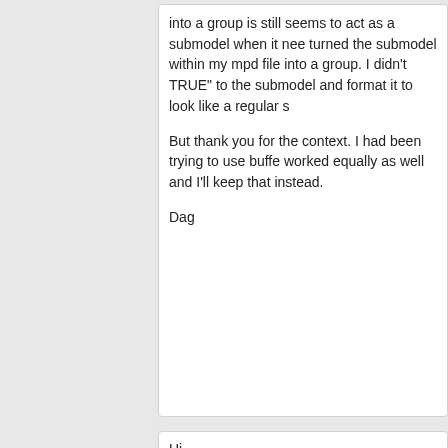into a group is still seems to act as a submodel when it nee turned the submodel within my mpd file into a group. I didn't TRUE" to the submodel and format it to look like a regular s
But thank you for the context. I had been trying to use buffe worked equally as well and I'll keep that instead.
Dag
Hi
The problem is that.
The Buffer exchange syntax from lpub doesn't work in lpub3d
In lpub you use normally the ghost command in the “Store” a
So you must ignore the parts in the retrieve action
There is already a discussion on
https://sourceforge.net
If nothing goes right, go left.
Website   Find